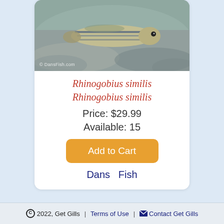[Figure (photo): Close-up photo of a Rhinogobius similis fish (goby) on a rocky surface, showing the fish's distinctive striped pattern. Watermark reads '© DansFish.com']
Rhinogobius similis
Rhinogobius similis
Price: $29.99
Available: 15
Add to Cart
Dans  Fish
[Figure (photo): Partial view of another fish product card, showing a dark bluish-grey fish photo cropped at bottom of page]
© 2022, Get Gills  |  Terms of Use  |  ✉ Contact Get Gills